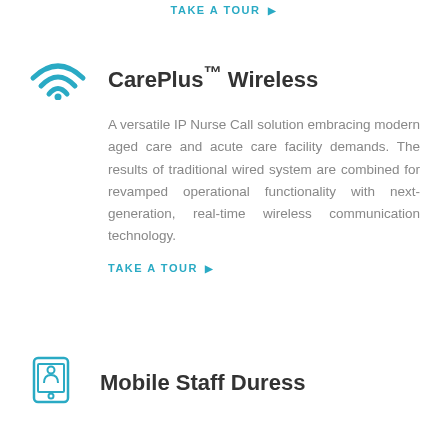TAKE A TOUR ▶
[Figure (illustration): WiFi/wireless signal icon in teal/cyan color]
CarePlus™ Wireless
A versatile IP Nurse Call solution embracing modern aged care and acute care facility demands. The results of traditional wired system are combined for revamped operational functionality with next-generation, real-time wireless communication technology.
TAKE A TOUR ▶
[Figure (illustration): Mobile staff duress device/tablet icon in teal outline]
Mobile Staff Duress